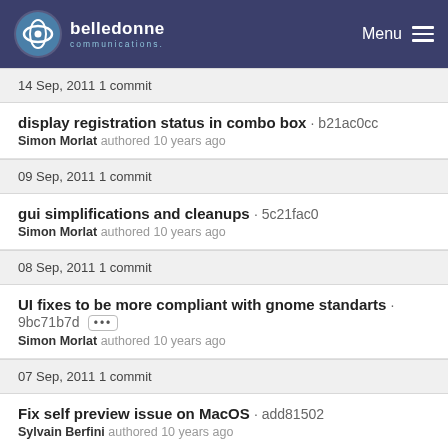belledonne communications - Menu
14 Sep, 2011 1 commit
display registration status in combo box · b21ac0cc
Simon Morlat authored 10 years ago
09 Sep, 2011 1 commit
gui simplifications and cleanups · 5c21fac0
Simon Morlat authored 10 years ago
08 Sep, 2011 1 commit
UI fixes to be more compliant with gnome standarts · 9bc71b7d [...]
Simon Morlat authored 10 years ago
07 Sep, 2011 1 commit
Fix self preview issue on MacOS · add81502
Sylvain Berfini authored 10 years ago